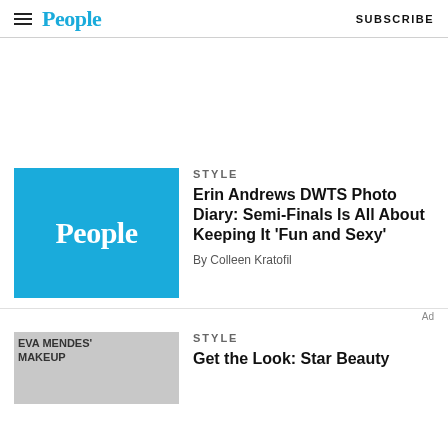People | SUBSCRIBE
[Figure (other): Advertisement space (blank white area)]
STYLE
[Figure (logo): People magazine logo on blue background (thumbnail)]
Erin Andrews DWTS Photo Diary: Semi-Finals Is All About Keeping It ‘Fun and Sexy’
By Colleen Kratofil
Ad
STYLE
[Figure (photo): Thumbnail image labeled EVA MENDES’ MAKEUP on gray background]
Get the Look: Star Beauty